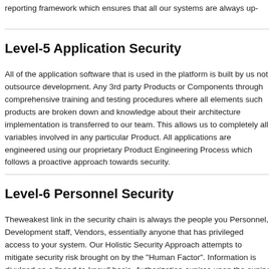reporting framework which ensures that all our systems are always up-
Level-5 Application Security
All of the application software that is used in the platform is built by us not outsource development. Any 3rd party Products or Components through comprehensive training and testing procedures where all elements such products are broken down and knowledge about their architecture implementation is transferred to our team. This allows us to completely all variables involved in any particular Product. All applications are engineered using our proprietary Product Engineering Process which follows a proactive approach towards security.
Level-6 Personnel Security
Theweakest link in the security chain is always the people you Personnel, Development staff, Vendors, essentially anyone that has privileged access to your system. Our Holistic Security Approach attempts to mitigate security risk brought on by the "Human Factor". Information is divulged on a "need-to-know" basis. Authorization expires upon the expiry